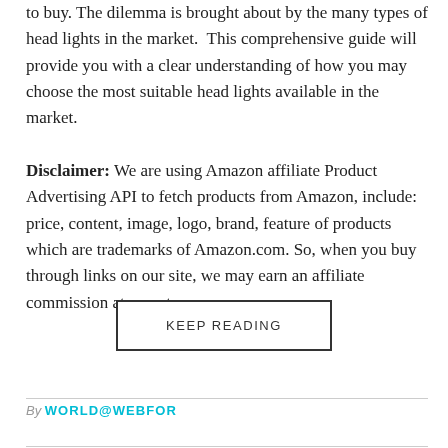to buy. The dilemma is brought about by the many types of head lights in the market. This comprehensive guide will provide you with a clear understanding of how you may choose the most suitable head lights available in the market. Disclaimer: We are using Amazon affiliate Product Advertising API to fetch products from Amazon, include: price, content, image, logo, brand, feature of products which are trademarks of Amazon.com. So, when you buy through links on our site, we may earn an affiliate commission at no extra...
KEEP READING
By WORLD@WEBFOR